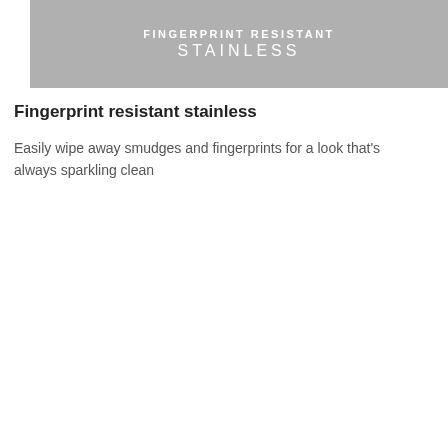[Figure (illustration): Grey banner with white text reading FINGERPRINT RESISTANT STAINLESS]
Fingerprint resistant stainless
Easily wipe away smudges and fingerprints for a look that's always sparkling clean
[Figure (illustration): Yellow measuring tape style graphic with dark navy text reading GE APPLIANCES FIT GUARANTEE]